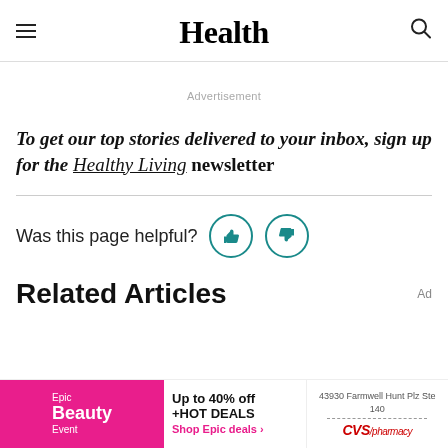Health
Advertisement
To get our top stories delivered to your inbox, sign up for the Healthy Living newsletter
Was this page helpful?
Related Articles
[Figure (other): Bottom advertisement banner: Epic Beauty Event (pink background), 'Up to 40% off +HOT DEALS, Shop Epic deals', and CVS/pharmacy address ad (43930 Farmwell Hunt Plz Ste 140)]